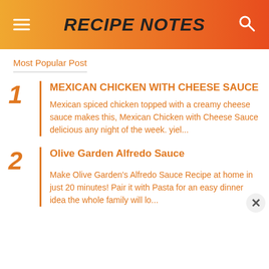RECIPE NOTES
Most Popular Post
1 MEXICAN CHICKEN WITH CHEESE SAUCE — Mexican spiced chicken topped with a creamy cheese sauce makes this, Mexican Chicken with Cheese Sauce delicious any night of the week. yiel...
2 Olive Garden Alfredo Sauce — Make Olive Garden's Alfredo Sauce Recipe at home in just 20 minutes! Pair it with Pasta for an easy dinner idea the whole family will lo...